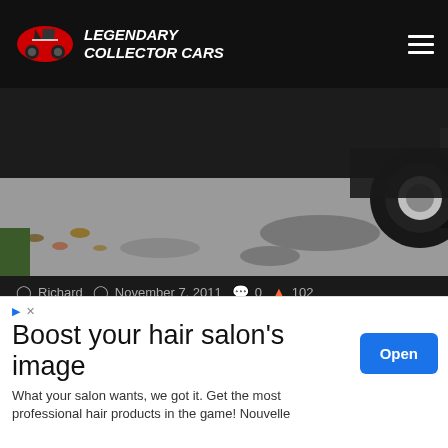LEGENDARY COLLECTOR CARS
[Figure (photo): Partial view of a classic car, showing the lower body, wheel, and driveway surface with scattered leaves and oil stains]
Richard  November 7, 2011  0  102
Project Cars Update
We have two Project Cars that have been getting neglected as of late. However, we are now back on both...
Read More »
[Figure (photo): Partial view of another car at the bottom of the page]
Boost your hair salon's image
What your salon wants, we got it. Get the most professional hair products in the game! Nouvelle
Open